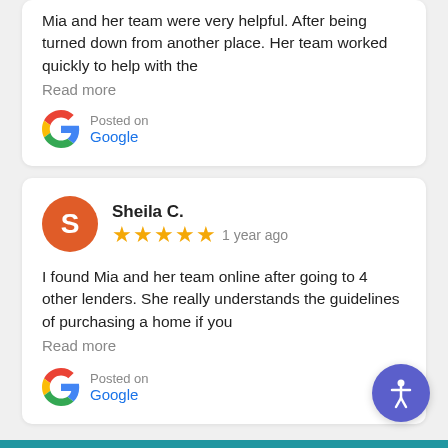Mia and her team were very helpful. After being turned down from another place. Her team worked quickly to help with the
Read more
Posted on Google
Sheila C.
1 year ago
I found Mia and her team online after going to 4 other lenders. She really understands the guidelines of purchasing a home if you
Read more
Posted on Google